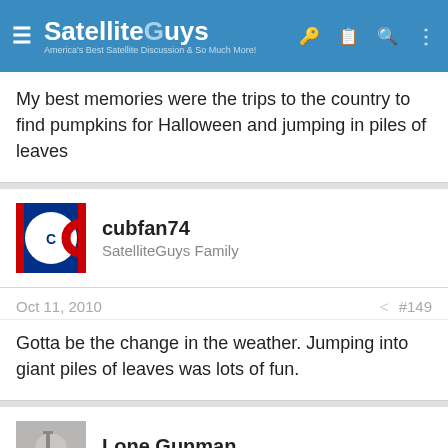SatelliteGuys — America's Best Satellite Discussion & So Much More!
My best memories were the trips to the country to find pumpkins for Halloween and jumping in piles of leaves
cubfan74
SatelliteGuys Family
Oct 11, 2010  #149
Gotta be the change in the weather. Jumping into giant piles of leaves was lots of fun.
Lone Gunman
SatelliteGuys Pro